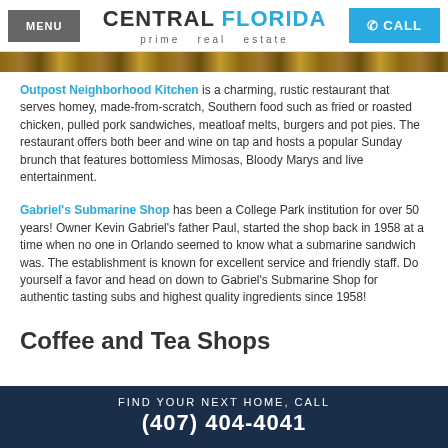MENU | CENTRAL FLORIDA prime real estate | CALL
[Figure (photo): Partial image of a restaurant interior, cropped at top]
Outpost Neighborhood Kitchen is a charming, rustic restaurant that serves homey, made-from-scratch, Southern food such as fried or roasted chicken, pulled pork sandwiches, meatloaf melts, burgers and pot pies. The restaurant offers both beer and wine on tap and hosts a popular Sunday brunch that features bottomless Mimosas, Bloody Marys and live entertainment.
Gabriel's Submarine Shop has been a College Park institution for over 50 years! Owner Kevin Gabriel's father Paul, started the shop back in 1958 at a time when no one in Orlando seemed to know what a submarine sandwich was. The establishment is known for excellent service and friendly staff. Do yourself a favor and head on down to Gabriel's Submarine Shop for authentic tasting subs and highest quality ingredients since 1958!
Coffee and Tea Shops
FIND YOUR NEXT HOME, CALL (407) 404-4041